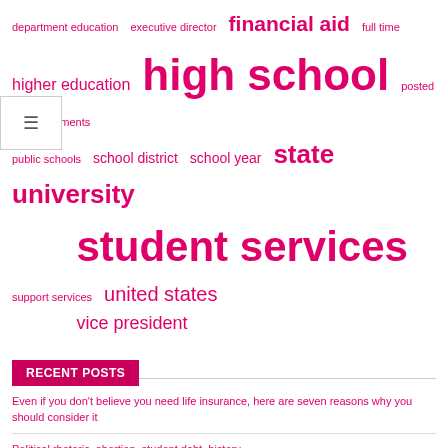[Figure (other): Tag cloud with education-related terms in varying sizes, all in pink/magenta color: department education, executive director, financial aid, full time, higher education, high school, posted announcements, public schools, school district, school year, state university, student services, support services, united states, vice president]
RECENT POSTS
Even if you don't believe you need life insurance, here are seven reasons why you should consider it
Political rhetoric, abortion, student debt, history
Best countries to work in Europe as a student
Jewish university asks High Court to freeze order approving gay student group on campus
Tips and traffic pointers for you! – Student services